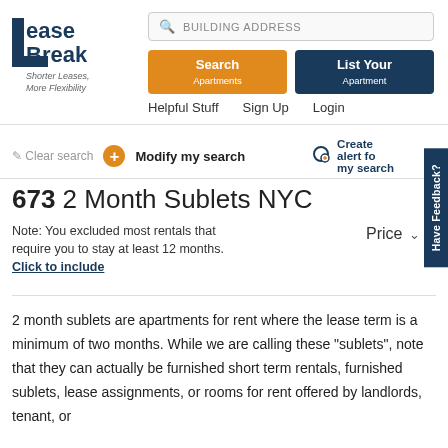[Figure (logo): LeaseBreak logo with tagline 'Shorter Leases, More Flexibility']
BUILDING ADDRESS (search bar)
Search Apartments | List Your Apartment
Helpful Stuff   Sign Up   Login
Clear search  +  Modify my search  Create alert for my search
673 2 Month Sublets NYC
Note: You excluded most rentals that require you to stay at least 12 months. Click to include
Price
2 month sublets are apartments for rent where the lease term is a minimum of two months. While we are calling these "sublets", note that they can actually be furnished short term rentals, furnished sublets, lease assignments, or rooms for rent offered by landlords, tenant, or